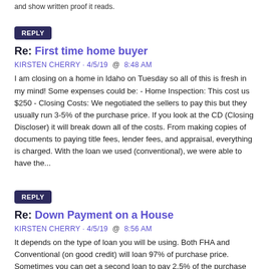and show written proof it reads.
REPLY
Re: First time home buyer
KIRSTEN CHERRY · 4/5/19  @  8:48 AM
I am closing on a home in Idaho on Tuesday so all of this is fresh in my mind! Some expenses could be: - Home Inspection: This cost us $250 - Closing Costs: We negotiated the sellers to pay this but they usually run 3-5% of the purchase price. If you look at the CD (Closing Discloser) it will break down all of the costs. From making copies of documents to paying title fees, lender fees, and appraisal, everything is charged. With the loan we used (conventional), we were able to have the...
REPLY
Re: Down Payment on a House
KIRSTEN CHERRY · 4/5/19  @  8:56 AM
It depends on the type of loan you will be using. Both FHA and Conventional (on good credit) will loan 97% of purchase price. Sometimes you can get a second loan to pay 2.5% of the purchase price which leaves you with .5% of purchase price to cough up for a down payment. Earnest money can go toward a down payment as well. If you pay anything less than 20% of the